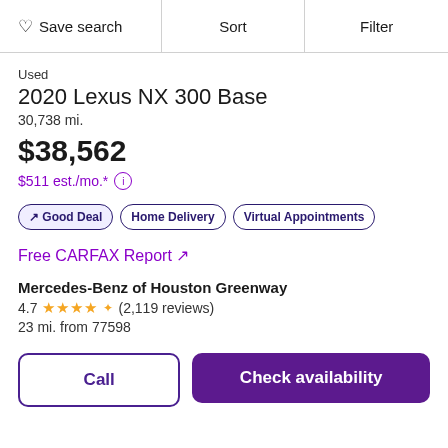Save search | Sort | Filter
Used
2020 Lexus NX 300 Base
30,738 mi.
$38,562
$511 est./mo.*
Good Deal
Home Delivery
Virtual Appointments
Free CARFAX Report ↗
Mercedes-Benz of Houston Greenway
4.7 ★★★★½ (2,119 reviews)
23 mi. from 77598
Call
Check availability